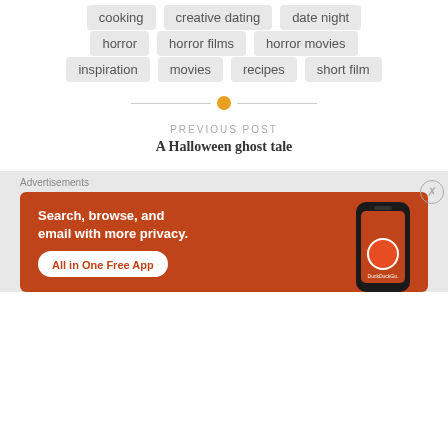cooking
creative dating
date night
horror
horror films
horror movies
inspiration
movies
recipes
short film
PREVIOUS POST
A Halloween ghost tale
Advertisements
[Figure (screenshot): DuckDuckGo advertisement banner: orange background with phone image showing DuckDuckGo app, text 'Search, browse, and email with more privacy. All in One Free App']